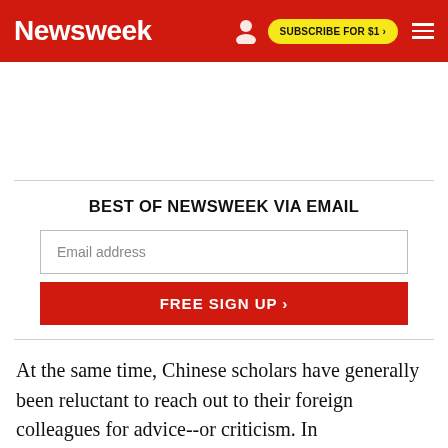Newsweek | SUBSCRIBE FOR $1 >
[Figure (other): Advertisement/whitespace area below the navigation bar]
BEST OF NEWSWEEK VIA EMAIL
Email address
FREE SIGN UP >
At the same time, Chinese scholars have generally been reluctant to reach out to their foreign colleagues for advice--or criticism. In